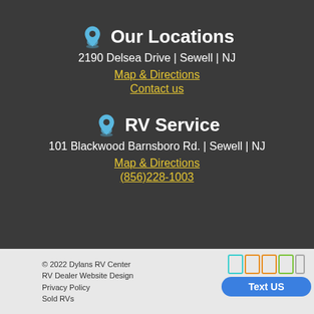Our Locations
2190 Delsea Drive | Sewell | NJ
Map & Directions
Contact us
RV Service
101 Blackwood Barnsboro Rd. | Sewell | NJ
Map & Directions
(856)228-1003
© 2022 Dylans RV Center
RV Dealer Website Design
Privacy Policy
Sold RVs